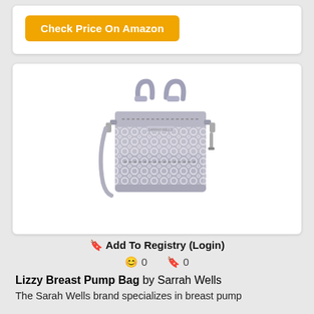[Figure (other): Orange 'Check Price On Amazon' button inside a white card]
[Figure (photo): Gray patterned Lizzy Breast Pump Bag by Sarrah Wells with top handles and shoulder strap]
🔖 Add To Registry (Login)
😊 0   🔖 0
Lizzy Breast Pump Bag by Sarrah Wells
The Sarah Wells brand specializes in breast pump